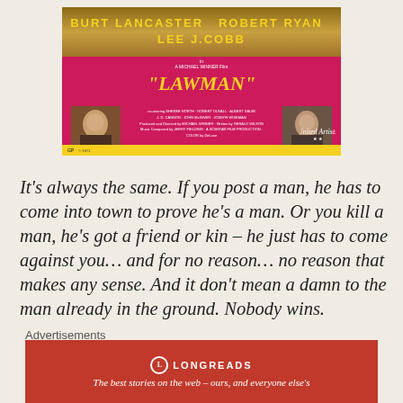[Figure (photo): Movie poster for 'Lawman' featuring Burt Lancaster, Robert Ryan, and Lee J. Cobb. Pink/magenta background with yellow text. A Michael Winner Film. Shows actor headshots and film credits.]
It's always the same. If you post a man, he has to come into town to prove he's a man. Or you kill a man, he's got a friend or kin – he just has to come against you… and for no reason… no reason that makes any sense. And it don't mean a damn to the man already in the ground. Nobody wins.
Advertisements
[Figure (logo): Longreads advertisement banner in red with circular logo and text: 'The best stories on the web – ours, and everyone else's']